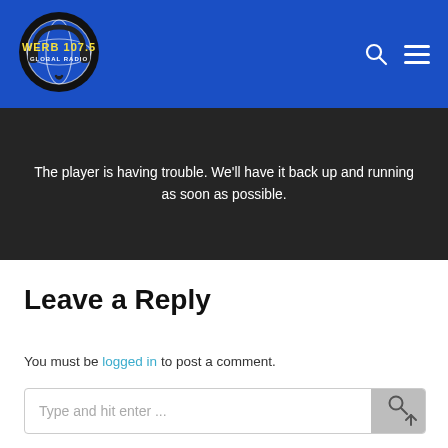[Figure (logo): WERB 107.5 Global Radio logo — circular logo with headphones and globe, yellow text on blue header background]
The player is having trouble. We'll have it back up and running as soon as possible.
Leave a Reply
You must be logged in to post a comment.
Type and hit enter ...